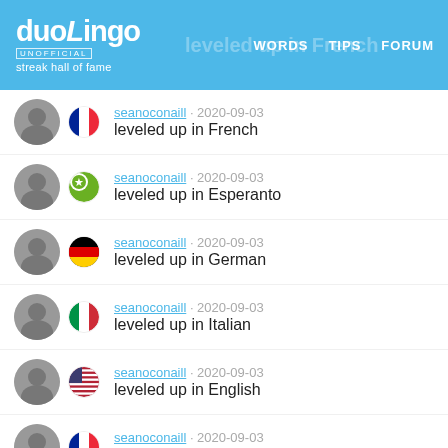duolingo UNOFFICIAL streak hall of fame | WORDS TIPS FORUM
seanoconaill · 2020-09-03 leveled up in French
seanoconaill · 2020-09-03 leveled up in Esperanto
seanoconaill · 2020-09-03 leveled up in German
seanoconaill · 2020-09-03 leveled up in Italian
seanoconaill · 2020-09-03 leveled up in English
seanoconaill · 2020-09-03 leveled up in French